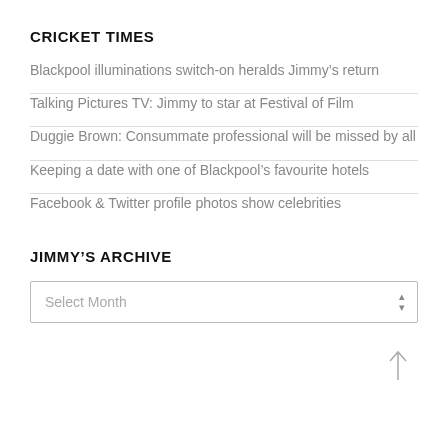CRICKET TIMES
Blackpool illuminations switch-on heralds Jimmy’s return
Talking Pictures TV: Jimmy to star at Festival of Film
Duggie Brown: Consummate professional will be missed by all
Keeping a date with one of Blackpool’s favourite hotels
Facebook & Twitter profile photos show celebrities
JIMMY’S ARCHIVE
Select Month